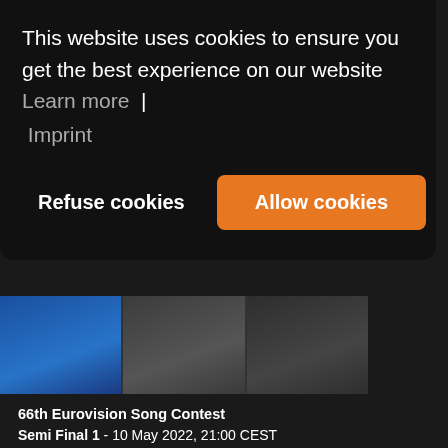[Figure (screenshot): Top banner showing Eurovision Song Contest branding with 'the sound' and Eurovision logo]
This website uses cookies to ensure you get the best experience on our website Learn more | Imprint
Refuse cookies
Allow cookies
[Figure (photo): Three people standing: one in a blue suit, two in dark clothing]
66th Eurovision Song Contest
Semi Final 1 - 10 May 2022, 21:00 CEST
Semi Final 2 - 12 May 2022, 21:00 CEST
Grand Final - 14 May 2022, 21:00 CEST
Location - PalaOlimpico, Turin, Italy
Host Broadcaster - RAI
Hosts - Mika, Laura Pausini and Alessandro Cattelan